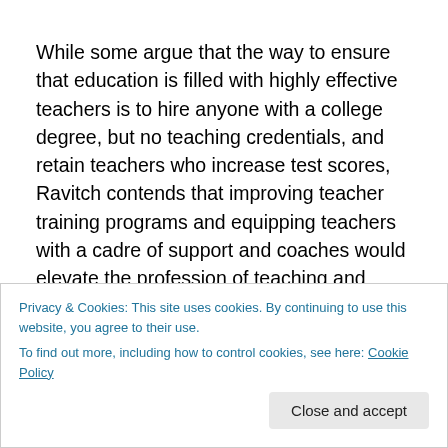While some argue that the way to ensure that education is filled with highly effective teachers is to hire anyone with a college degree, but no teaching credentials, and retain teachers who increase test scores, Ravitch contends that improving teacher training programs and equipping teachers with a cadre of support and coaches would elevate the profession of teaching and bring highly educated teachers into the field. Linda Darling-Hammond,
Privacy & Cookies: This site uses cookies. By continuing to use this website, you agree to their use.
To find out more, including how to control cookies, see here: Cookie Policy
Close and accept